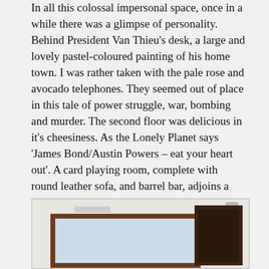In all this colossal impersonal space, once in a while there was a glimpse of personality. Behind President Van Thieu's desk, a large and lovely pastel-coloured painting of his home town. I was rather taken with the pale rose and avocado telephones. They seemed out of place in this tale of power struggle, war, bombing and murder. The second floor was delicious in it's cheesiness. As the Lonely Planet says 'James Bond/Austin Powers – eat your heart out'. A card playing room, complete with round leather sofa, and barrel bar, adjoins a cinema room, all red velvet plush and black leather quilted doors. And of course, there was a rooftop night-club complete with helipad. A Huey stands ready.
[Figure (photo): Interior photo showing framed pastel painting on a white wall on the left side, and a dark framed cabinet or door element on the right side of the image.]